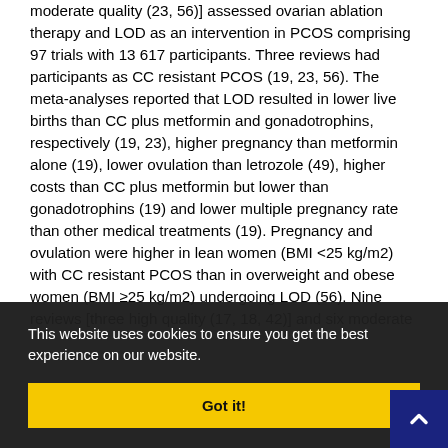moderate quality (23, 56)] assessed ovarian ablation therapy and LOD as an intervention in PCOS comprising 97 trials with 13 617 participants. Three reviews had participants as CC resistant PCOS (19, 23, 56). The meta-analyses reported that LOD resulted in lower live births than CC plus metformin and gonadotrophins, respectively (19, 23), higher pregnancy than metformin alone (19), lower ovulation than letrozole (49), higher costs than CC plus metformin but lower than gonadotrophins (19) and lower multiple pregnancy rate than other medical treatments (19). Pregnancy and ovulation were higher in lean women (BMI <25 kg/m2) with CC resistant PCOS than in overweight and obese women (BMI ≥25 kg/m2) undergoing LOD (56). Nine reviews [three high quality (17, 18, 42)] and six moderate ... ent ... g assisted ... nation (IUI), ... rticipants in ... ew which ... (57). Thre ... ormone (GnRH) antagonist as an adjuvant intervention in
This website uses cookies to ensure you get the best experience on our website.
Got it!